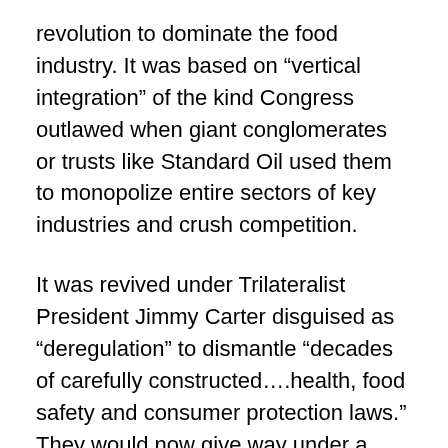revolution to dominate the food industry. It was based on “vertical integration” of the kind Congress outlawed when giant conglomerates or trusts like Standard Oil used them to monopolize entire sectors of key industries and crush competition.
It was revived under Trilateralist President Jimmy Carter disguised as “deregulation” to dismantle “decades of carefully constructed….health, food safety and consumer protection laws.” They would now give way under a new wave of industry-friendly vertical integration. Supported by a public campaign, it claimed that government was the problem, it encroached too much on our lives, and it had to be rolled back for greater personal “freedom.”
Early in the 1970s, agribusiness producers controlled US food supplies. They’d now go global on a scale without